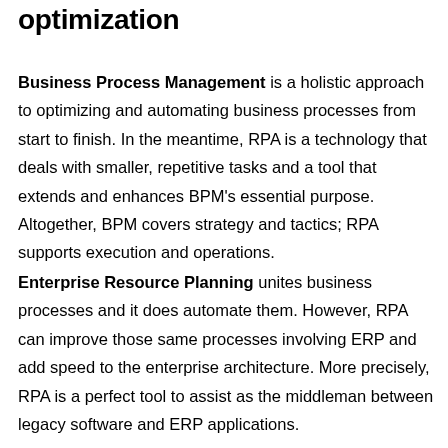optimization
Business Process Management is a holistic approach to optimizing and automating business processes from start to finish. In the meantime, RPA is a technology that deals with smaller, repetitive tasks and a tool that extends and enhances BPM's essential purpose. Altogether, BPM covers strategy and tactics; RPA supports execution and operations.
Enterprise Resource Planning unites business processes and it does automate them. However, RPA can improve those same processes involving ERP and add speed to the enterprise architecture. More precisely, RPA is a perfect tool to assist as the middleman between legacy software and ERP applications.